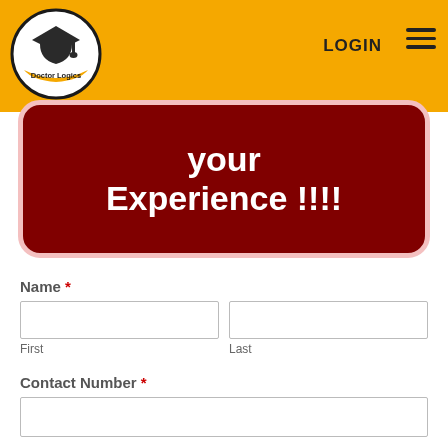Doctor Logics | LOGIN
[Figure (logo): Doctor Logics logo: oval black border with graduation cap icon and 'Doctor Logics' text on gold ribbon]
your Experience !!!!
Name *
First
Last
Contact Number *
Email *